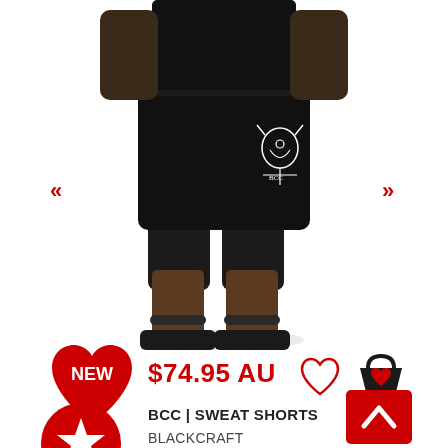[Figure (photo): Male model wearing black sweat shorts with a Baphomet/goat skull graphic print on the leg, black t-shirt, and black slide sandals, standing against white background. Navigation arrows (left/right) visible on sides.]
[Figure (illustration): Red heart shape with white 'NEW' text badge]
$74.95 AU
[Figure (illustration): Outline heart icon (wishlist)]
[Figure (illustration): Black basket/cart icon with red heart inside]
BCC | SWEAT SHORTS
[Figure (illustration): Red circle with white star icon]
BLACKCRAFT
[Figure (illustration): Red scroll-to-top button with white upward chevron arrow]